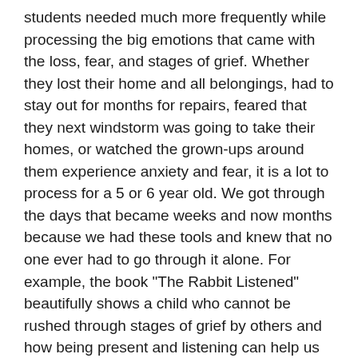students needed much more frequently while processing the big emotions that came with the loss, fear, and stages of grief. Whether they lost their home and all belongings, had to stay out for months for repairs, feared that they next windstorm was going to take their homes, or watched the grown-ups around them experience anxiety and fear, it is a lot to process for a 5 or 6 year old. We got through the days that became weeks and now months because we had these tools and knew that no one ever had to go through it alone. For example, the book "The Rabbit Listened" beautifully shows a child who cannot be rushed through stages of grief by others and how being present and listening can help us know how to support one another. I told them I was their Rabbit, and many other adults were rabbits for them to, and we would be by their side through it all. The metaphor we meaningful and helped them tremendously. When students